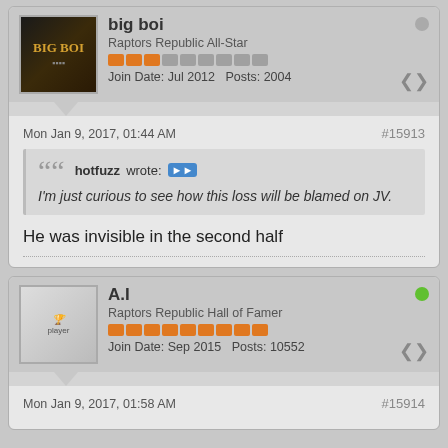big boi
Raptors Republic All-Star
Join Date: Jul 2012  Posts: 2004
Mon Jan 9, 2017, 01:44 AM   #15913
hotfuzz wrote: I'm just curious to see how this loss will be blamed on JV.
He was invisible in the second half
A.I
Raptors Republic Hall of Famer
Join Date: Sep 2015  Posts: 10552
Mon Jan 9, 2017, 01:58 AM   #15914